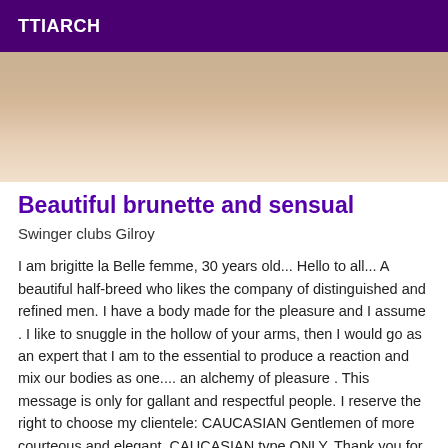TTIARCH
[Figure (photo): Partial photo showing legs and white fabric/towel, cropped adult content image]
Beautiful brunette and sensual
Swinger clubs Gilroy
I am brigitte la Belle femme, 30 years old... Hello to all... A beautiful half-breed who likes the company of distinguished and refined men. I have a body made for the pleasure and I assume . I like to snuggle in the hollow of your arms, then I would go as an expert that I am to the essential to produce a reaction and mix our bodies as one.... an alchemy of pleasure . This message is only for gallant and respectful people. I reserve the right to choose my clientele: CAUCASIAN Gentlemen of more courteous and elegant, CAUCASIAN type ONLY. Thank you for not insisting